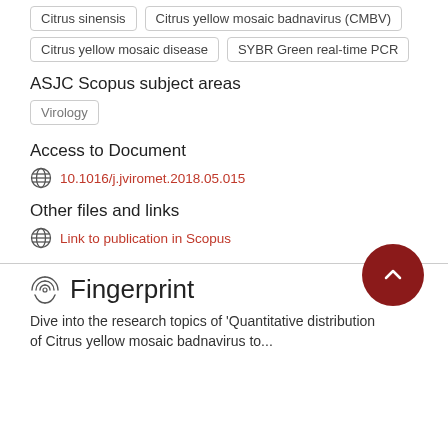Citrus sinensis
Citrus yellow mosaic badnavirus (CMBV)
Citrus yellow mosaic disease
SYBR Green real-time PCR
ASJC Scopus subject areas
Virology
Access to Document
10.1016/j.jviromet.2018.05.015
Other files and links
Link to publication in Scopus
Fingerprint
Dive into the research topics of 'Quantitative distribution of Citrus yellow mosaic badnavirus to...